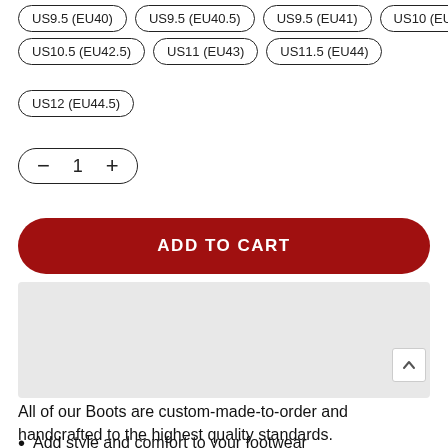US9.5 (EU40)  US9.5 (EU40.5)  US9.5 (EU41)  US10 (EU42)
US10.5 (EU42.5)  US11 (EU43)  US11.5 (EU44)
US12 (EU44.5)
- 1 +
ADD TO CART
[Figure (other): Gray placeholder image box]
All of our Boots are custom-made-to-order and handcrafted to the highest quality standards.
Add style and comfort to your footwear